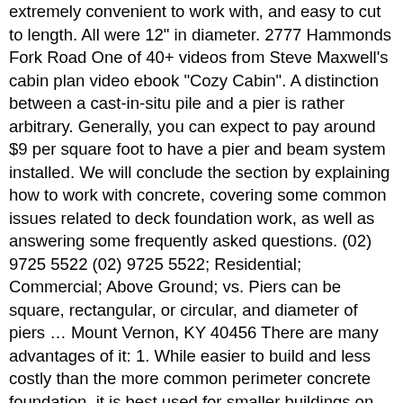extremely convenient to work with, and easy to cut to length. All were 12" in diameter. 2777 Hammonds Fork Road One of 40+ videos from Steve Maxwell's cabin plan video ebook "Cozy Cabin". A distinction between a cast-in-situ pile and a pier is rather arbitrary. Generally, you can expect to pay around $9 per square foot to have a pier and beam system installed. We will conclude the section by explaining how to work with concrete, covering some common issues related to deck foundation work, as well as answering some frequently asked questions. (02) 9725 5522 (02) 9725 5522; Residential; Commercial; Above Ground; vs. Piers can be square, rectangular, or circular, and diameter of piers ... Mount Vernon, KY 40456 There are many advantages of it: 1. While easier to build and less costly than the more common perimeter concrete foundation, it is best used for smaller buildings on building sites with a low likelihood of earthquake or hurricane force winds. A typical concrete foundation can consume a disproportionately large share of your construction budget -- ... Foundations Are Our Business. It can very quickly fill with moisture and, since it's rarely a space you use, you won't